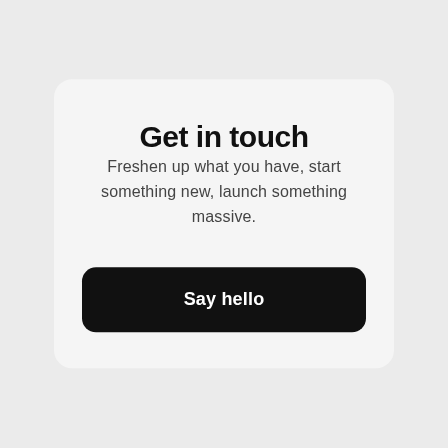Get in touch
Freshen up what you have, start something new, launch something massive.
Say hello